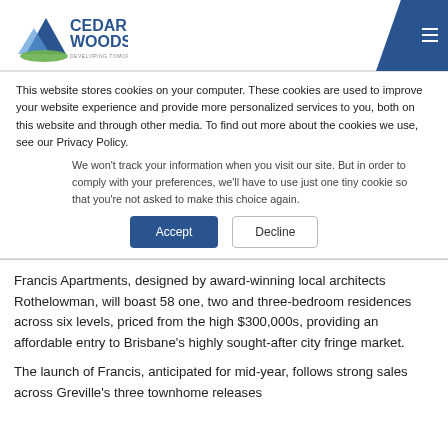Cedar Woods — Developing Tomorrow Today
This website stores cookies on your computer. These cookies are used to improve your website experience and provide more personalized services to you, both on this website and through other media. To find out more about the cookies we use, see our Privacy Policy.
We won't track your information when you visit our site. But in order to comply with your preferences, we'll have to use just one tiny cookie so that you're not asked to make this choice again.
Accept | Decline
Francis Apartments, designed by award-winning local architects Rothelowman, will boast 58 one, two and three-bedroom residences across six levels, priced from the high $300,000s, providing an affordable entry to Brisbane's highly sought-after city fringe market.
The launch of Francis, anticipated for mid-year, follows strong sales across Greville's three townhome releases